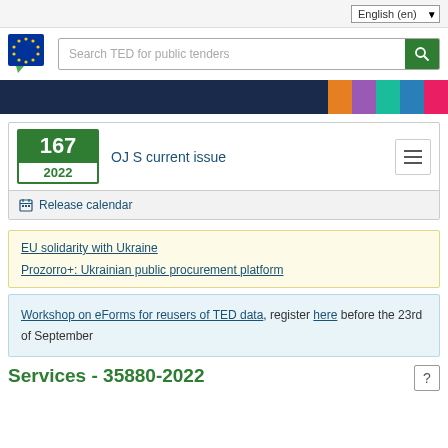English (en)
[Figure (logo): EU TED logo - blue square with EU stars and speech bubble]
Search TED for public tenders
167
2022
OJ S current issue
Release calendar
EU solidarity with Ukraine
Prozorro+: Ukrainian public procurement platform
Workshop on eForms for reusers of TED data, register here before the 23rd of September
Services - 35880-2022